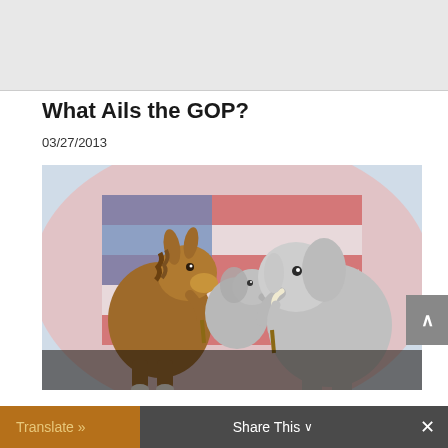[Figure (other): Gray placeholder image area at top of page]
What Ails the GOP?
03/27/2013
[Figure (illustration): Political cartoon showing a cartoon donkey (Democrat) and elephant (Republican) facing each other with an American flag in background, both holding small sticks]
Translate »
Share This ∨
×